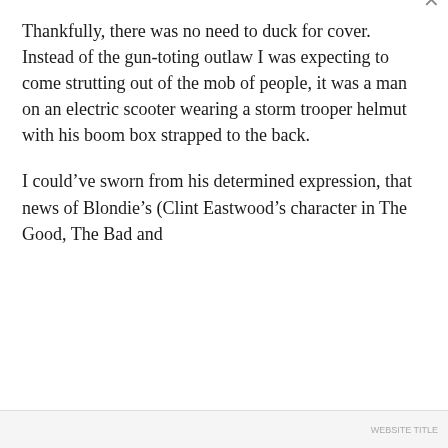Thankfully, there was no need to duck for cover. Instead of the gun-toting outlaw I was expecting to come strutting out of the mob of people, it was a man on an electric scooter wearing a storm trooper helmut with his boom box strapped to the back.
I could’ve sworn from his determined expression, that news of Blondie’s (Clint Eastwood’s character in The Good, The Bad and
Privacy & Cookies: This site uses cookies. By continuing to use this website, you agree to their use.
To find out more, including how to control cookies, see here: Cookie Policy